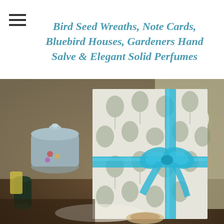Bird Seed Wreaths, Note Cards, Bluebird Houses, Gardeners Hand Salve & Elegant Solid Perfumes
[Figure (photo): A gift-wrapped box with floral/tulip patterned wrapping paper in silver-green and white, tied with a blue ribbon bow, displayed on a wooden table alongside vintage ceramic containers and decorative items.]